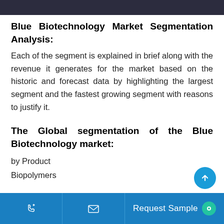Blue Biotechnology Market Segmentation Analysis:
Each of the segment is explained in brief along with the revenue it generates for the market based on the historic and forecast data by highlighting the largest segment and the fastest growing segment with reasons to justify it.
The Global segmentation of the Blue Biotechnology market:
by Product
Biopolymers
Request Sample